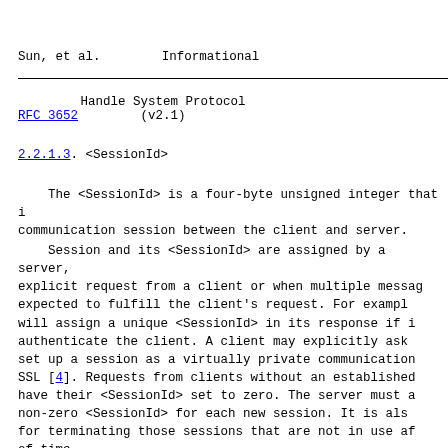Sun, et al.                        Informational
RFC 3652                    Handle System Protocol (v2.1)
2.2.1.3.  <SessionId>
The <SessionId> is a four-byte unsigned integer that identifies a communication session between the client and server.
Session and its <SessionId> are assigned by a server, either upon explicit request from a client or when multiple messages are expected to fulfill the client's request.  For example, a server will assign a unique <SessionId> in its response if it needs to authenticate the client.  A client may explicitly ask a server to set up a session as a virtually private communication channel via SSL [4].  Requests from clients without an established session will have their <SessionId> set to zero.  The server must assign a non-zero <SessionId> for each new session.  It is also responsible for terminating those sessions that are not in use after a period of time.